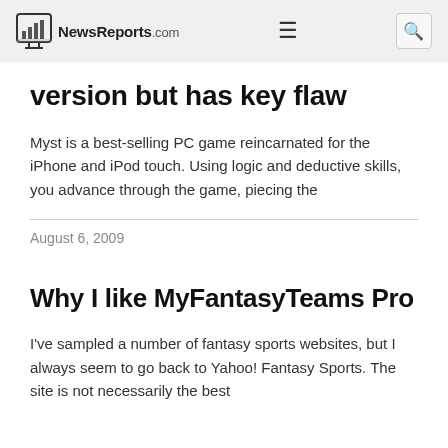NewsReports.com
version but has key flaw
Myst is a best-selling PC game reincarnated for the iPhone and iPod touch. Using logic and deductive skills, you advance through the game, piecing the
August 6, 2009
Why I like MyFantasyTeams Pro
I've sampled a number of fantasy sports websites, but I always seem to go back to Yahoo! Fantasy Sports. The site is not necessarily the best